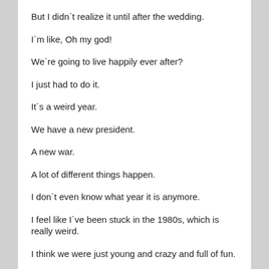But I didn`t realize it until after the wedding.
I`m like, Oh my god!
We`re going to live happily ever after?
I just had to do it.
It`s a weird year.
We have a new president.
A new war.
A lot of different things happen.
I don`t even know what year it is anymore.
I feel like I`ve been stuck in the 1980s, which is really weird.
I think we were just young and crazy and full of fun.